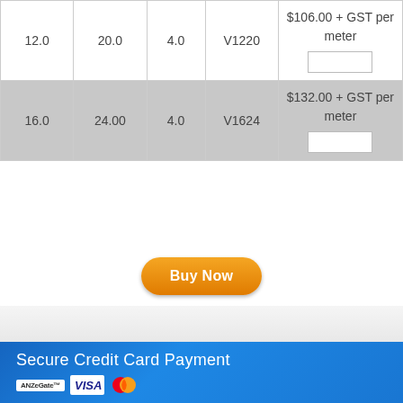| 12.0 | 20.0 | 4.0 | V1220 | $106.00 + GST per meter |
| 16.0 | 24.00 | 4.0 | V1624 | $132.00 + GST per meter |
[Figure (other): Orange 'Buy Now' button]
[Figure (other): Blue footer section with 'Secure Credit Card Payment' heading and payment logos: ANZeGate, VISA, Mastercard]